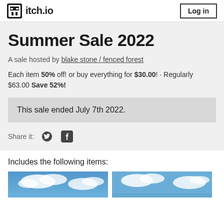itch.io — Log in
Summer Sale 2022
A sale hosted by blake stone / fenced forest
Each item 50% off! or buy everything for $30.00! · Regularly $63.00 Save 52%!
This sale ended July 7th 2022.
Share it:
Includes the following items:
[Figure (photo): Two thumbnail images showing blue sky with clouds]